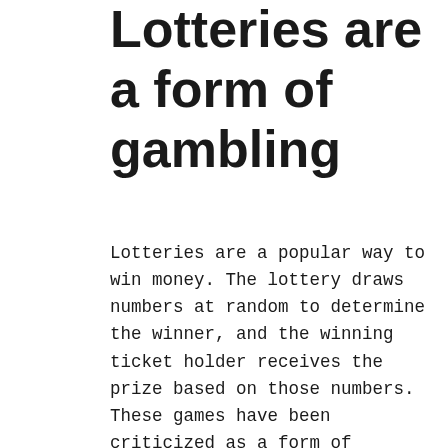Lotteries are a form of gambling
Lotteries are a popular way to win money. The lottery draws numbers at random to determine the winner, and the winning ticket holder receives the prize based on those numbers. These games have been criticized as a form of addiction, but they can also be a valuable source of income for public charities. Many governments regulate the operation of lottery games, and many prohibit them from selling tickets to minors. Some states also require vendors to be licensed before selling lottery tickets. Generally, lottery games are considered legal forms of gambling.